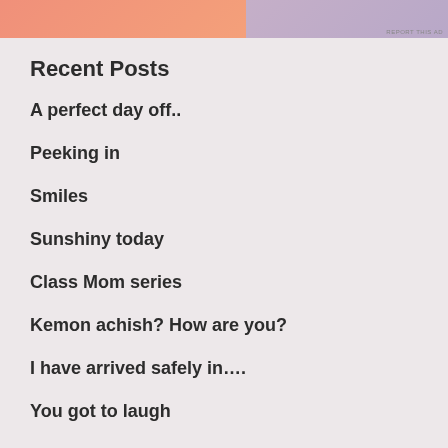[Figure (other): Partial ad banner with orange and purple gradient sections, 'REPORT THIS AD' label in bottom right]
Recent Posts
A perfect day off..
Peeking in
Smiles
Sunshiny today
Class Mom series
Kemon achish? How are you?
I have arrived safely in….
You got to laugh